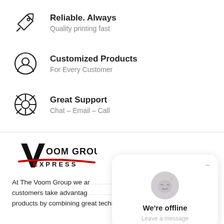Reliable. Always
Quality printing fast
Customized Products
For Every Customer
Great Support
Chat - Email - Call
[Figure (logo): Voom Group Express logo with stylized V and red underline]
At The Voom Group we ar... customers take advantag... products by combining great technology with old
[Figure (screenshot): Chat widget showing 'We're offline' with sleeping face emoji and 'Leave a message' prompt]